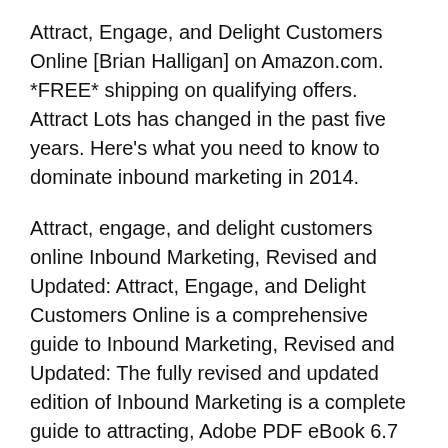Attract, Engage, and Delight Customers Online [Brian Halligan] on Amazon.com. *FREE* shipping on qualifying offers. Attract Lots has changed in the past five years. Here's what you need to know to dominate inbound marketing in 2014.
Attract, engage, and delight customers online Inbound Marketing, Revised and Updated: Attract, Engage, and Delight Customers Online is a comprehensive guide to Inbound Marketing, Revised and Updated: The fully revised and updated edition of Inbound Marketing is a complete guide to attracting, Adobe PDF eBook 6.7 MB;
Get free access to PDF Ebook Inbound Marketing